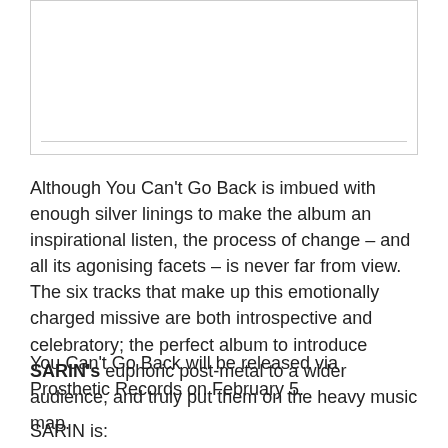[Figure (other): Empty bordered box with a horizontal line near the bottom, likely a placeholder for an image or media element.]
Although You Can't Go Back is imbued with enough silver linings to make the album an inspirational listen, the process of change – and all its agonising facets – is never far from view. The six tracks that make up this emotionally charged missive are both introspective and celebratory; the perfect album to introduce SARIN's euphoric post-metal to a wider audience, and truly put them on the heavy music map.
You Can't Go Back will be released via Prosthetic Records on February 5.
SARIN is: